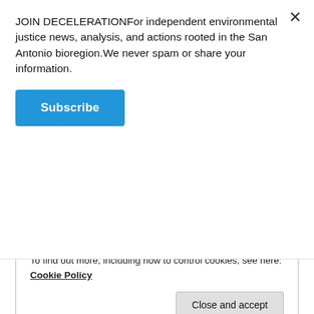JOIN DECELERATIONFor independent environmental justice news, analysis, and actions rooted in the San Antonio bioregion.We never spam or share your information.
Subscribe
independent refiner of fossil fuels. (Here he is virtually ringing the closing bell of the New York Stock Exchange.)
Another current RAC member, Curtis Anastasio, a
Privacy & Cookies: This site uses cookies. By continuing to use this website, you agree to their use.
To find out more, including how to control cookies, see here:
Cookie Policy
Close and accept
slides from the meeting are below.)